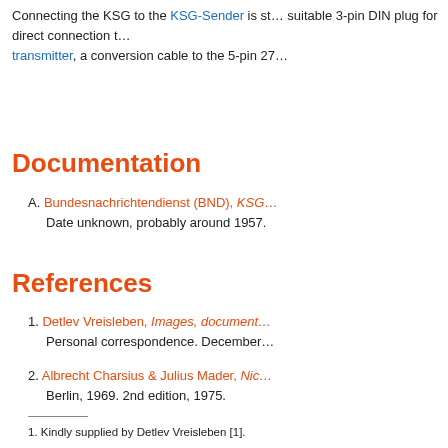Connecting the KSG to the KSG-Sender is st… suitable 3-pin DIN plug for direct connection t… transmitter, a conversion cable to the 5-pin 27…
Documentation
A. Bundesnachrichtendienst (BND), KSG… Date unknown, probably around 1957.
References
1. Detlev Vreisleben, Images, document… Personal correspondence. December…
2. Albrecht Charsius & Julius Mader, Nic… Berlin, 1969. 2nd edition, 1975.
1. Kindly supplied by Detlev Vreisleben [1].